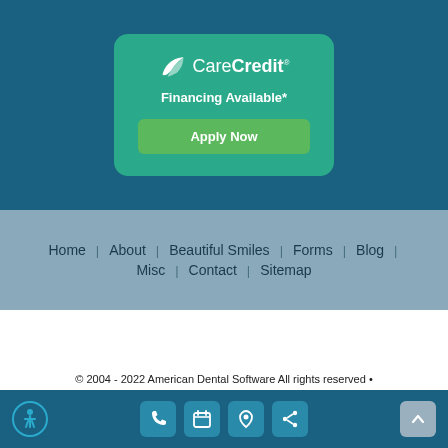[Figure (logo): CareCredit logo with leaf/wing icon and text, on a teal rounded card with 'Financing Available*' text and green 'Apply Now' button, set against a dark teal background]
Home | About | Beautiful Smiles | Forms | Blog | Misc | Contact | Sitemap
© 2004 - 2022 American Dental Software All rights reserved • Site Designed, Maintained & Hosted by Siva Solutions Inc.,
[Figure (infographic): Bottom bar with accessibility icon, phone/calendar/location/share icons in teal boxes, and scroll-to-top arrow button]